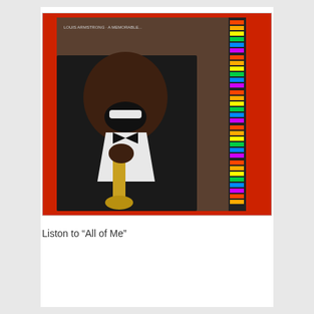[Figure (photo): A photograph of a jazz musician (Louis Armstrong) in a tuxedo with a bow tie, laughing joyfully and holding a trumpet. The album cover shows colorful vertical text on the right side. The background behind the album is red.]
Liston to “All of Me”